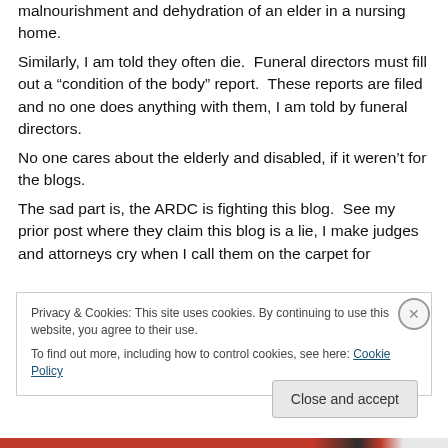malnourishment and dehydration of an elder in a nursing home.
Similarly, I am told they often die.  Funeral directors must fill out a “condition of the body” report.  These reports are filed and no one does anything with them, I am told by funeral directors.
No one cares about the elderly and disabled, if it weren’t for the blogs.
The sad part is, the ARDC is fighting this blog.  See my prior post where they claim this blog is a lie, I make judges and attorneys cry when I call them on the carpet for
Privacy & Cookies: This site uses cookies. By continuing to use this website, you agree to their use.
To find out more, including how to control cookies, see here: Cookie Policy